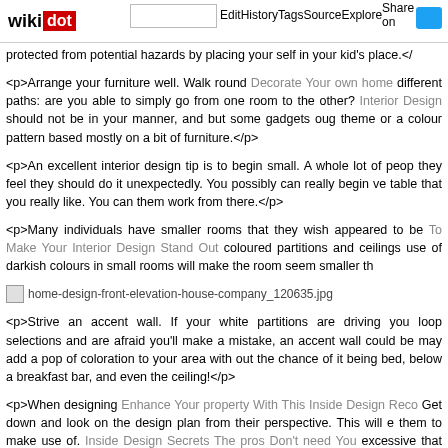wikidot | site | Edit | History | Tags | Source | Explore | Share on
protected from potential hazards by placing your self in your kid's place.</
<p>Arrange your furniture well. Walk round Decorate Your own home different paths: are you able to simply go from one room to the other? Interior Design should not be in your manner, and but some gadgets oug theme or a colour pattern based mostly on a bit of furniture.</p>
<p>An excellent interior design tip is to begin small. A whole lot of peop they feel they should do it unexpectedly. You possibly can really begin ve table that you really like. You can them work from there.</p>
<p>Many individuals have smaller rooms that they wish appeared to be To Make Your Interior Design Stand Out coloured partitions and ceilings use of darkish colours in small rooms will make the room seem smaller th
[Figure (photo): home-design-front-elevation-house-company_120635.jpg placeholder image]
<p>Strive an accent wall. If your white partitions are driving you loop selections and are afraid you'll make a mistake, an accent wall could be may add a pop of coloration to your area with out the chance of it being bed, below a breakfast bar, and even the ceiling!</p>
<p>When designing Enhance Your property With This Inside Design Reco Get down and look on the design plan from their perspective. This will e them to make use of. Inside Design Secrets The pros Don't need You excessive that your youngster will not be able to make use of them.</p>
<p>Flowers and plants make a kitchen look alive and welcoming. Add so to your table for a clear look that brings the outdoors in. Simply be certa situation you can will be deleted and dishes only the